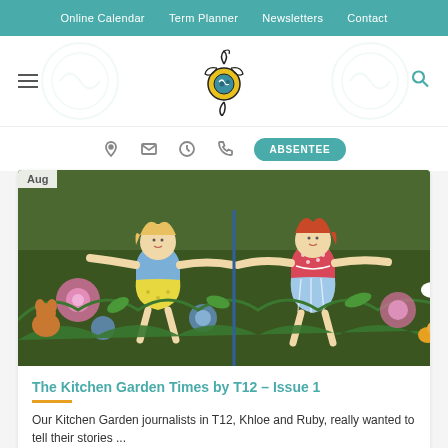Online Calendar  Term Planner  Newsletters  Contact
[Figure (logo): School website logo — decorative circular emblem with swirls, yellow and teal]
[Figure (illustration): Colourful painted mural showing two girls among flowers and plants in a kitchen garden setting. 'Aug' badge in top-left corner.]
The Kitchen Garden Times by T12 – Issue 1
Our Kitchen Garden journalists in T12, Khloe and Ruby, really wanted to tell their stories ...
1 COMMENT